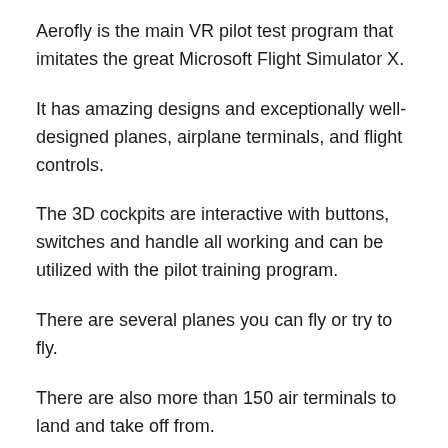Aerofly is the main VR pilot test program that imitates the great Microsoft Flight Simulator X.
It has amazing designs and exceptionally well-designed planes, airplane terminals, and flight controls.
The 3D cockpits are interactive with buttons, switches and handle all working and can be utilized with the pilot training program.
There are several planes you can fly or try to fly.
There are also more than 150 air terminals to land and take off from.
The breathtaking views are a pleasant addition to the whole experience.
At some point you will be trial subjected claiming that